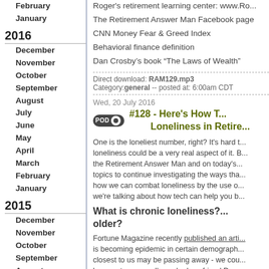February
January
2016
December
November
October
September
August
July
June
May
April
March
February
January
2015
December
November
October
September
August
July
June
May
April
March
February
January
2014
Roger's retirement learning center: www.Ro...
The Retirement Answer Man Facebook page
CNN Money Fear & Greed Index
Behavioral finance definition
Dan Crosby's book “The Laws of Wealth”
Direct download: RAM129.mp3
Category: general -- posted at: 6:00am CDT
Wed, 20 July 2016
#128 - Here's How T... Loneliness in Retire...
One is the loneliest number, right? It's hard t... loneliness could be a very real aspect of it. B... the Retirement Answer Man and on today's... topics to continue investigating the ways tha... how we can combat loneliness by the use o... we're talking about how tech can help you b...
What is chronic loneliness?... older?
Fortune Magazine recently published an arti... is becoming epidemic in certain demograph... closest to us may be passing away - we cou... happen to you, so I've asked my friend Doug... helpful tool in keeping us out of the pit of lo...